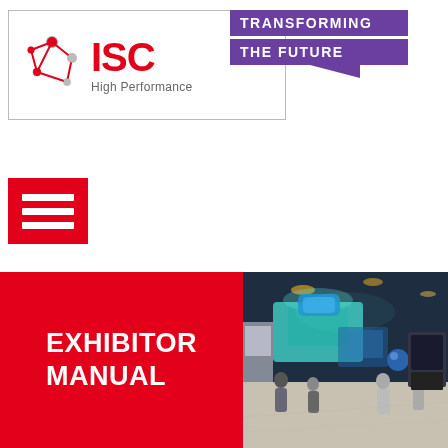[Figure (logo): ISC High Performance logo with network/molecule icon in red, text 'ISC' in red bold, 'High Performance' in grey, inside a bordered box. A purple banner to the right reads 'TRANSFORMING THE FUTURE' with a downward-pointing triangular tail.]
[Figure (infographic): Red square hamburger/menu icon with three white horizontal bars, representing a navigation menu button.]
EXHIBITOR MANUAL
[Figure (photo): Photo of an exhibition hall with exhibitor booths, blue and teal displays, people walking around, overhead lighting, and various tech company booths visible.]